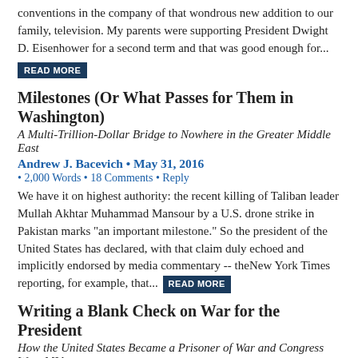conventions in the company of that wondrous new addition to our family, television. My parents were supporting President Dwight D. Eisenhower for a second term and that was good enough for...
READ MORE
Milestones (Or What Passes for Them in Washington)
A Multi-Trillion-Dollar Bridge to Nowhere in the Greater Middle East
Andrew J. Bacevich • May 31, 2016
• 2,000 Words • 18 Comments • Reply
We have it on highest authority: the recent killing of Taliban leader Mullah Akhtar Muhammad Mansour by a U.S. drone strike in Pakistan marks "an important milestone." So the president of the United States has declared, with that claim duly echoed and implicitly endorsed by media commentary -- theNew York Times reporting, for example, that... READ MORE
Writing a Blank Check on War for the President
How the United States Became a Prisoner of War and Congress Went MIA
Andrew J. Bacevich • April 5, 2016
• 2,000 Words • 25 Comments • Reply
Let's face it: in times of war, the Constitution tends to take a beating. With the safety or survival of the nation said to be at risk, the basic law of the land -- otherwise considered sacrosanct -- becomes nonbinding,